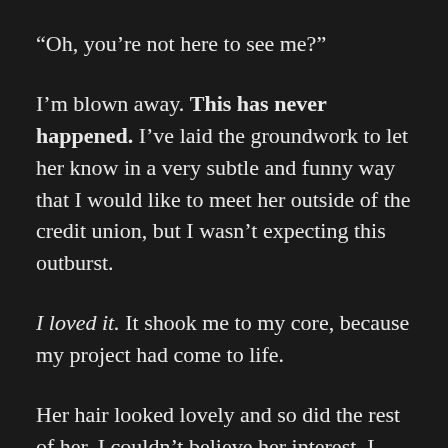“Oh, you’re not here to see me?”
I’m blown away. This has never happened. I’ve laid the groundwork to let her know in a very subtle and funny way that I would like to meet her outside of the credit union, but I wasn’t expecting this outburst.
I loved it. It shook me to my core, because my project had come to life.
Her hair looked lovely and so did the rest of her. I couldn’t believe her interest. I literally toss the cash to the little white guy and walk down to her window. I don’t care at this point and feel a bit of power as a member.